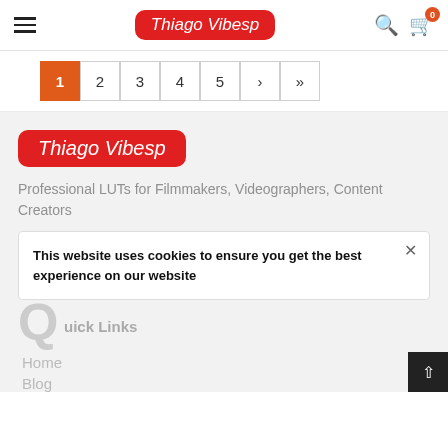Thiago Vibesp — navigation header with hamburger menu, logo, search and cart icons
Pagination: 1 (active), 2, 3, 4, 5, ›, »
[Figure (logo): Thiago Vibesp logo — red rounded rectangle with white italic script text]
Professional LUTs for Filmmakers, Videographers, Content Creators
This website uses cookies to ensure you get the best experience on our website
Quick Links
Home
Blog